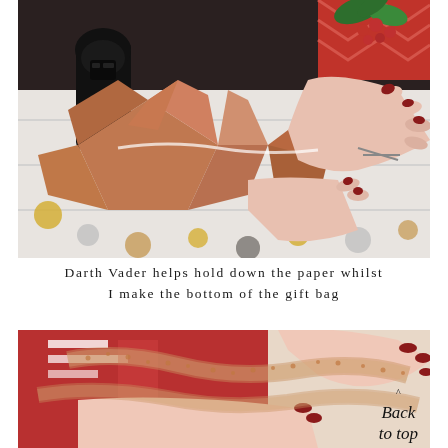[Figure (photo): Darth Vader figurine holding down metallic copper/rose gold origami paper on a white surface, surrounded by red berries, glittery confetti circles, scissors, and a woman's hand with red nail polish. Christmas gift wrapping scene.]
Darth Vader helps hold down the paper whilst I make the bottom of the gift bag
[Figure (photo): Close-up of hands with red nail polish holding a transparent lace or mesh ribbon with small dot pattern, over a red and white gift background. A decorative 'Back to top' script text appears in the bottom right corner.]